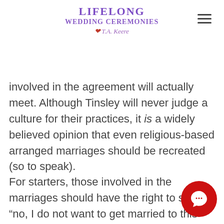Lifelong Wedding Ceremonies with T.A. Keere
involved in the agreement will actually meet. Although Tinsley will never judge a culture for their practices, it is a widely believed opinion that even religious-based arranged marriages should be recreated (so to speak).
For starters, those involved in the marriages should have the right to say “no, I do not want to get married to this person”. Even better, if the person is involved in the process (rather than le in the dark), it gives the marriage a better chance of working out. Overall